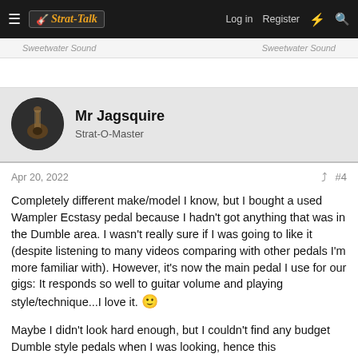Strat-Talk | Log in | Register
Sweetwater Sound   Sweetwater Sound
Mr Jagsquire
Strat-O-Master
Apr 20, 2022   #4
Completely different make/model I know, but I bought a used Wampler Ecstasy pedal because I hadn't got anything that was in the Dumble area. I wasn't really sure if I was going to like it (despite listening to many videos comparing with other pedals I'm more familiar with). However, it's now the main pedal I use for our gigs: It responds so well to guitar volume and playing style/technique...I love it. 🙂
Maybe I didn't look hard enough, but I couldn't find any budget Dumble style pedals when I was looking, hence this